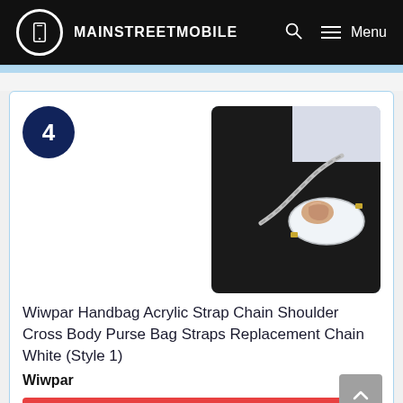MAINSTREETMOBILE
[Figure (photo): Product photo: a woman in a black outfit holding a white handbag with an acrylic chain strap]
4
Wiwpar Handbag Acrylic Strap Chain Shoulder Cross Body Purse Bag Straps Replacement Chain White (Style 1)
Wiwpar